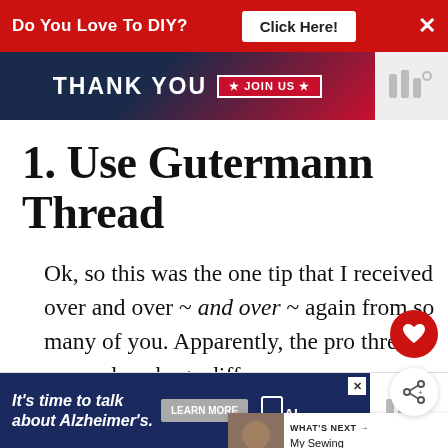[Figure (screenshot): Red banner ad: 'Do You Love To DIY? Click Here!' with close X button]
[Figure (screenshot): Advertisement banner with 'THANK YOU' text and 'JOIN US' on dark patriotic background]
1. Use Gutermann Thread
Ok, so this was the one tip that I received over and over ~ and over ~ again from so many of you. Apparently, the pro thread can make a huge difference.
[Figure (screenshot): Alzheimer's association ad: 'It's time to talk about Alzheimer's.' with Learn More button]